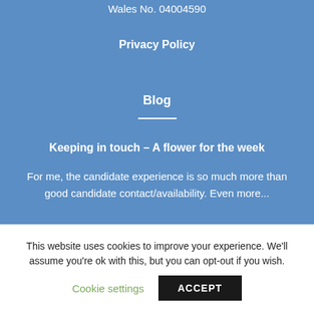Wales No. 04004590
Privacy Policy
Blog
Keeping in touch – A flower for the week
For me, the candidate experience is so much more than good candidate contact/availability. Even more...
This website uses cookies to improve your experience. We'll assume you're ok with this, but you can opt-out if you wish.
Cookie settings
ACCEPT